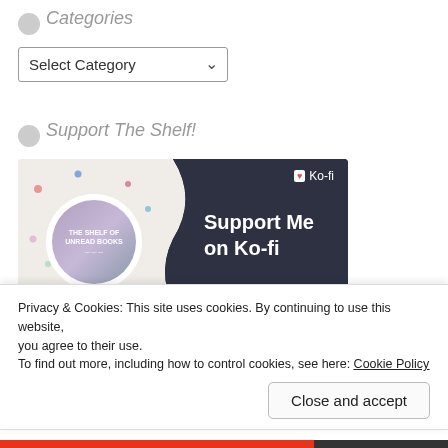Categories
Select Category
Support The Shelf!
[Figure (illustration): Ko-fi support banner showing 'The Shelf of Unread Books' logo on left with colorful dots, and 'Support Me on Ko-fi' text on dark right side with Ko-fi branding]
Reviews on The Shelf are free, honest, and unbiased and I don't use affiliate
Privacy & Cookies: This site uses cookies. By continuing to use this website, you agree to their use.
To find out more, including how to control cookies, see here: Cookie Policy
Close and accept